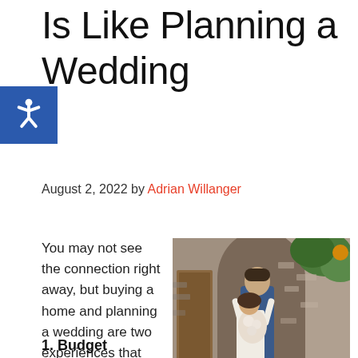Is Like Planning a Wedding
August 2, 2022 by Adrian Willanger
[Figure (photo): A couple embracing at a stone archway decorated with flowers; the groom in a blue suit holds flowers while the bride in white wraps her arms around him.]
You may not see the connection right away, but buying a home and planning a wedding are two experiences that require certain skills and challenge you in similar ways. Check out the three key similarities below!
1. Budget